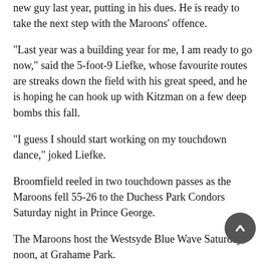new guy last year, putting in his dues. He is ready to take the next step with the Maroons’ offence.
“Last year was a building year for me, I am ready to go now,” said the 5-foot-9 Liefke, whose favourite routes are streaks down the field with his great speed, and he is hoping he can hook up with Kitzman on a few deep bombs this fall.
“I guess I should start working on my touchdown dance,” joked Liefke.
Broomfield reeled in two touchdown passes as the Maroons fell 55-26 to the Duchess Park Condors Saturday night in Prince George.
The Maroons host the Westsyde Blue Wave Saturday, noon, at Grahame Park.